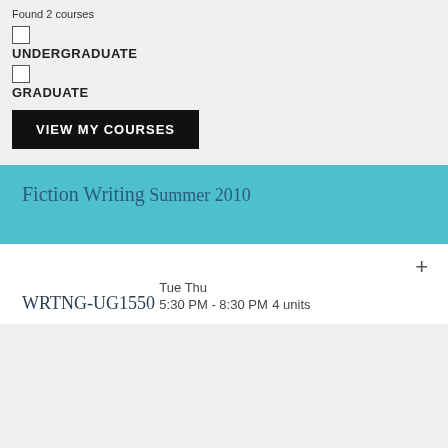Found 2 courses
UNDERGRADUATE
GRADUATE
VIEW MY COURSES
Fiction Writing
Summer 2010
WRTNG-UG1550
Tue Thu
5:30 PM - 8:30 PM
4 units